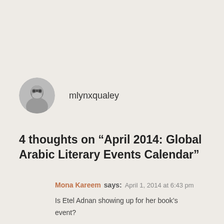[Figure (photo): Circular avatar photo of a woman with glasses, black and white]
mlynxqualey
4 thoughts on “April 2014: Global Arabic Literary Events Calendar”
Mona Kareem says: April 1, 2014 at 6:43 pm
Is Etel Adnan showing up for her book’s event?